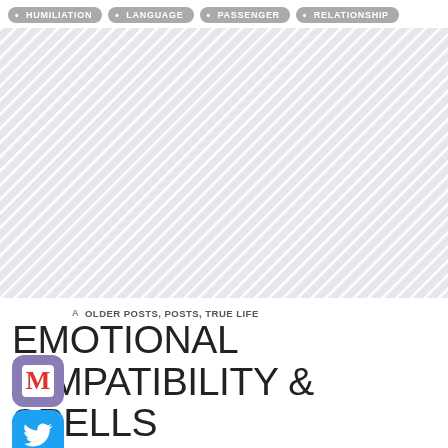• HUMILIATION  • LANGUAGE  • PASSENGER  • RELATIONSHIP
[Figure (other): Large hatched/diagonal striped gray and white rectangular area representing an image placeholder or redacted content]
A  OLDER POSTS, POSTS, TRUE LIFE
EMOTIONAL COMPATIBILITY & SPELLS